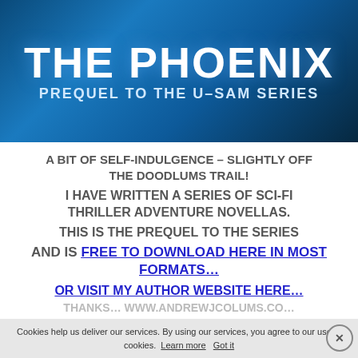[Figure (illustration): Book cover banner for 'The Phoenix: Prequel to the U-Sam Series' with white bold text on a dark blue/teal space-like background with light particle effects]
A BIT OF SELF-INDULGENCE – SLIGHTLY OFF THE DOODLUMS TRAIL!
I HAVE WRITTEN A SERIES OF SCI-FI THRILLER ADVENTURE NOVELLAS.
THIS IS THE PREQUEL TO THE SERIES
AND IS FREE TO DOWNLOAD HERE IN MOST FORMATS...
OR VISIT MY AUTHOR WEBSITE HERE...
THANKS… WWW.ANDREWJCOLUMS.CO…
Cookies help us deliver our services. By using our services, you agree to our use of cookies. Learn more Got it